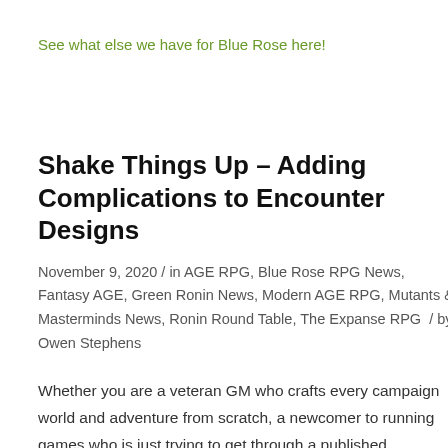See what else we have for Blue Rose here!
Shake Things Up – Adding Complications to Encounter Designs
November 9, 2020 / in AGE RPG, Blue Rose RPG News, Fantasy AGE, Green Ronin News, Modern AGE RPG, Mutants & Masterminds News, Ronin Round Table, The Expanse RPG / by Owen Stephens
Whether you are a veteran GM who crafts every campaign world and adventure from scratch, a newcomer to running games who is just trying to get through a published adventure, or someone preferring any of the hundreds of possible in-between styles of gamemastering, sometimes you realize your encounters are in a rut. It may not be your fault—many GMs run